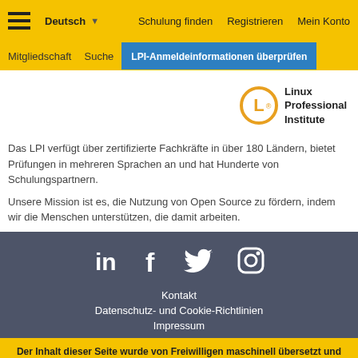Deutsch ▾   Schulung finden   Registrieren   Mein Konto
Mitgliedschaft   Suche   LPI-Anmeldeinformationen überprüfen
[Figure (logo): Linux Professional Institute circular logo with L letter in orange circle, next to text 'Linux Professional Institute']
Das LPI verfügt über zertifizierte Fachkräfte in über 180 Ländern, bietet Prüfungen in mehreren Sprachen an und hat Hunderte von Schulungspartnern.
Unsere Mission ist es, die Nutzung von Open Source zu fördern, indem wir die Menschen unterstützen, die damit arbeiten.
[Figure (infographic): Social media icons: LinkedIn, Facebook, Twitter, Instagram in white on dark gray background]
Kontakt
Datenschutz- und Cookie-Richtlinien
Impressum
Der Inhalt dieser Seite wurde von Freiwilligen maschinell übersetzt und überprüft. Im Falle einer Diskrepanz zwischen der Englischen und der übersetzten Version, gilt die Vorrangigkeit der englischen Version.